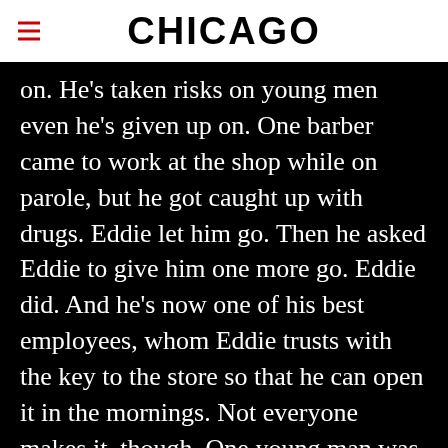CHICAGO
on. He's taken risks on young men even he's given up on. One barber came to work at the shop while on parole, but he got caught up with drugs. Eddie let him go. Then he asked Eddie to give him one more go. Eddie did. And he's now one of his best employees, whom Eddie trusts with the key to the store so that he can open it in the mornings. Not everyone makes it, though. One young man was nodding off between haircuts, which, for obvious reasons, concerned Eddie. And then one day he dropped a small bag of powdered heroin on the floor. Eddie got him into rehab, but once the